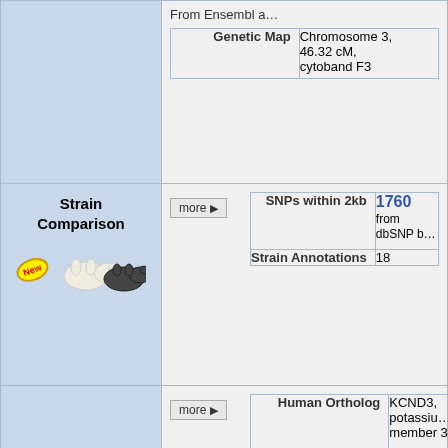| Category | Controls | Data |
| --- | --- | --- |
|  |  | From Ensembl a...
Genetic Map: Chromosome 3, 46.32 cM, cytoband F3 |
| Strain Comparison | more ▶ | SNPs within 2kb: 1760 from dbSNP b...
Strain Annotations: 18 |
| Homology | more ▶ | Human Ortholog: KCND3, potassiu... member 3
Vertebrate Orthologs: 3 |
| Human Diseases | more ▶ | Diseases: 2 with human KC... |
| Mutations, Alleles, and Phenotypes | less ▼ | Phenotype Summary: 8 phenotypes fro... 17 phenotype ref...
Phenotype Ove... |